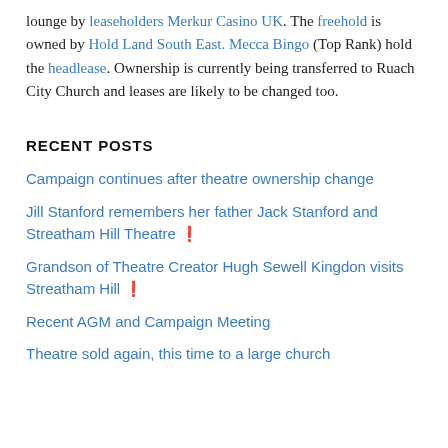lounge by leaseholders Merkur Casino UK. The freehold is owned by Hold Land South East. Mecca Bingo (Top Rank) hold the headlease. Ownership is currently being transferred to Ruach City Church and leases are likely to be changed too.
RECENT POSTS
Campaign continues after theatre ownership change
Jill Stanford remembers her father Jack Stanford and Streatham Hill Theatre 🔗
Grandson of Theatre Creator Hugh Sewell Kingdon visits Streatham Hill 🔗
Recent AGM and Campaign Meeting
Theatre sold again, this time to a large church